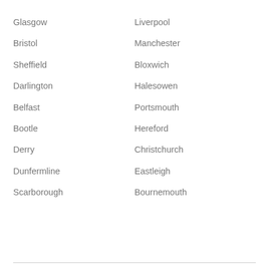Glasgow
Liverpool
Bristol
Manchester
Sheffield
Bloxwich
Darlington
Halesowen
Belfast
Portsmouth
Bootle
Hereford
Derry
Christchurch
Dunfermline
Eastleigh
Scarborough
Bournemouth